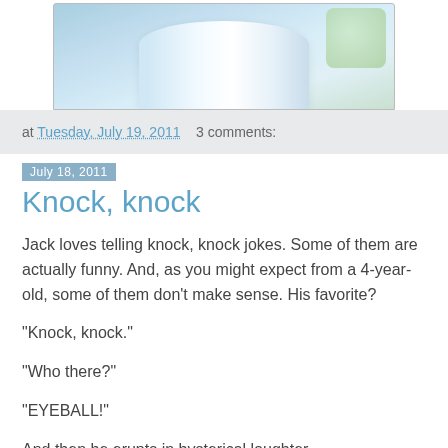[Figure (photo): Partial photo of a white cylindrical object (likely a jar or cup) on a blue and white background, cropped at top of page]
at Tuesday, July 19, 2011   3 comments:
July 18, 2011
Knock, knock
Jack loves telling knock, knock jokes. Some of them are actually funny. And, as you might expect from a 4-year-old, some of them don't make sense. His favorite?
"Knock, knock."
"Who there?"
"EYEBALL!"
And then he erupts in hysterical laughter.